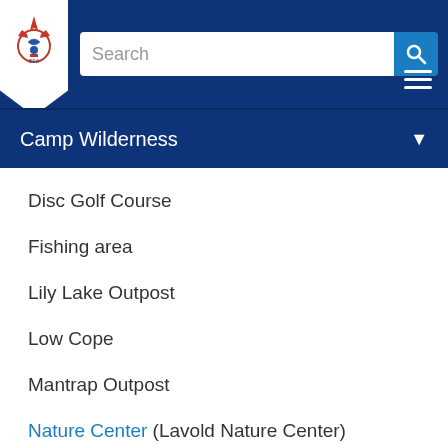Camp Wilderness navigation page with BSA logo, search bar, and hamburger menu
Camp Wilderness
Disc Golf Course
Fishing area
Lily Lake Outpost
Low Cope
Mantrap Outpost
Nature Center (Lavold Nature Center)
Preachers Grove
Rifle Range (Art Christopherson Rifle Range)